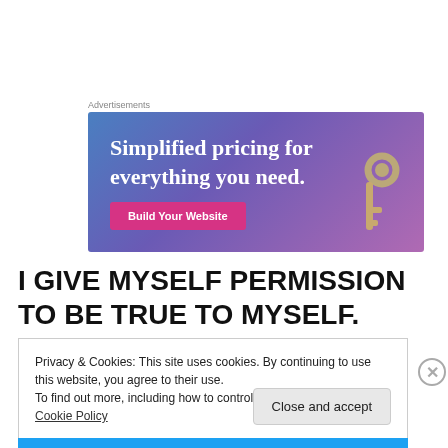Advertisements
[Figure (illustration): Advertisement banner with gradient blue-purple background showing text 'Simplified pricing for everything you need.' with a pink 'Build Your Website' button and a hand holding keys graphic.]
I GIVE MYSELF PERMISSION TO BE TRUE TO MYSELF.
Privacy & Cookies: This site uses cookies. By continuing to use this website, you agree to their use.
To find out more, including how to control cookies, see here: Cookie Policy
Close and accept